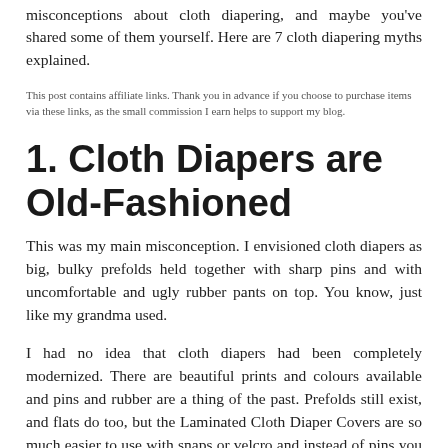misconceptions about cloth diapering, and maybe you've shared some of them yourself. Here are 7 cloth diapering myths explained.
This post contains affiliate links. Thank you in advance if you choose to purchase items via these links, as the small commission I earn helps to support my blog.
1. Cloth Diapers are Old-Fashioned
This was my main misconception. I envisioned cloth diapers as big, bulky prefolds held together with sharp pins and with uncomfortable and ugly rubber pants on top. You know, just like my grandma used.
I had no idea that cloth diapers had been completely modernized. There are beautiful prints and colours available and pins and rubber are a thing of the past. Prefolds still exist, and flats do too, but the Laminated Cloth Diaper Covers are so much easier to use with snaps or velcro and instead of pins you can use